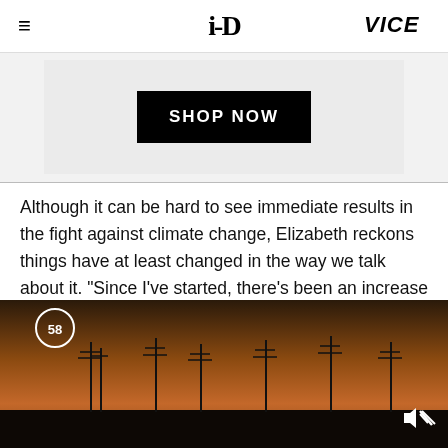i-D | VICE
[Figure (other): Advertisement banner with SHOP NOW button on grey background]
Although it can be hard to see immediate results in the fight against climate change, Elizabeth reckons things have at least changed in the way we talk about it. "Since I've started, there's been an increase in the amount of people talking about stuff. Young people are becoming more and
[Figure (photo): Dusk/twilight landscape photo with silhouettes of antennae or poles against an orange-brown sky, with a circular number badge showing 58 and a mute icon in the bottom right]